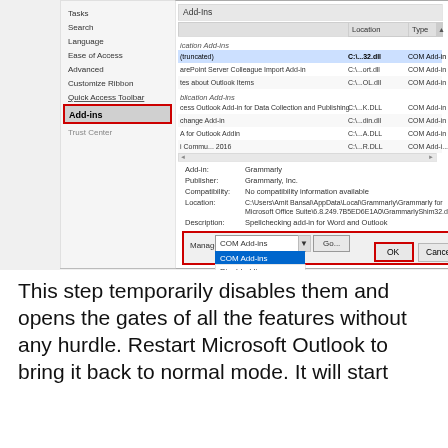[Figure (screenshot): Microsoft Outlook Options dialog showing Add-ins settings panel. Left sidebar shows options including Tasks, Search, Language, Ease of Access, Advanced, Customize Ribbon, Quick Access Toolbar, Add-ins (highlighted with red box), Trust Center. Main area shows Add-ins list with Location and Type columns, listing COM Add-ins including Grammarly and others. Bottom section shows details: Add-in: Grammarly, Publisher: Grammarly Inc., Compatibility: No compatibility information available, Location: C:\Users\Amit Bansal\AppData\Local\Grammarly\Grammarly for Microsoft Office Suite\6.8.249.7B5ED6E1A0\GrammarlyShim32.dll, Description: Spellchecking add-in for Word and Outlook. A dropdown showing 'COM Add-ins' is open with options 'COM Add-ins' (highlighted in blue) and 'Disabled Items', with a red box around the Manage section and 'Go...' button, and another red box around the OK button.]
This step temporarily disables them and opens the gates of all the features without any hurdle. Restart Microsoft Outlook to bring it back to normal mode. It will start